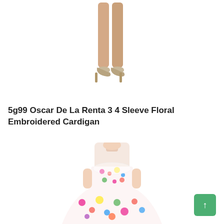[Figure (photo): A woman's legs wearing nude/beige pointed-toe high heel pumps, visible from mid-calf down, on a white background.]
5g99 Oscar De La Renta 3 4 Sleeve Floral Embroidered Cardigan
[Figure (photo): A woman wearing a sleeveless white dress with colorful floral embroidery pattern in pink, blue, yellow and green flowers. The dress has a fitted bodice and a full A-line skirt. The model is shown from shoulders to mid-thigh.]